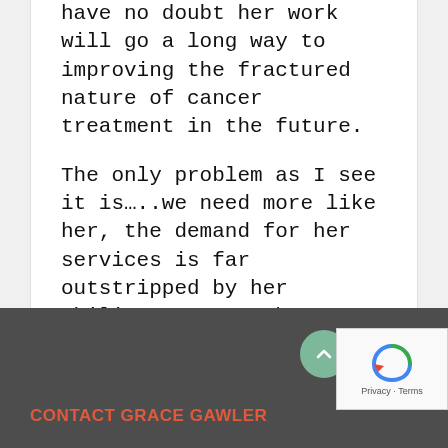have no doubt her work will go a long way to improving the fractured nature of cancer treatment in the future.
The only problem as I see it is…..we need more like her, the demand for her services is far outstripped by her ability to meet the enormous and growing need for holistic, evidence based cancer treatment and care.
CONTACT GRACE GAWLER